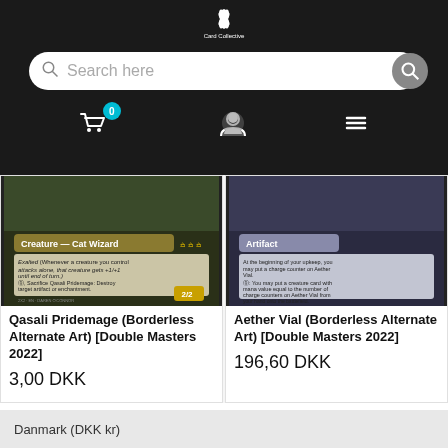[Figure (logo): Card Collective logo with lotus/flower icon on dark background]
Search here
[Figure (photo): Qasali Pridemage Magic: The Gathering card (Borderless Alternate Art), Creature — Cat Wizard, 2/2, Double Masters 2022]
Qasali Pridemage (Borderless Alternate Art) [Double Masters 2022]
3,00 DKK
[Figure (photo): Aether Vial Magic: The Gathering card (Borderless Alternate Art), Artifact, Double Masters 2022 — partially visible]
Aether Vial (Borderless Alternate Art) [Double Masters 2022]
196,60 DKK
Danmark (DKK kr)